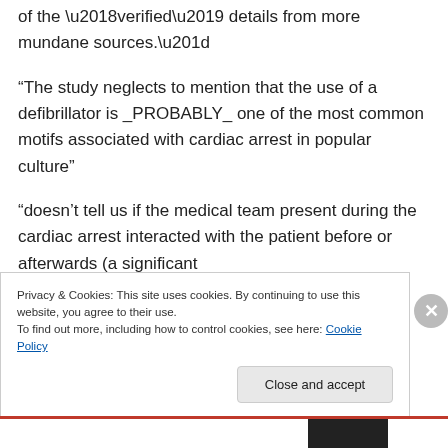of the ‘verified’ details from more mundane sources.”
“The study neglects to mention that the use of a defibrillator is _PROBABLY_ one of the most common motifs associated with cardiac arrest in popular culture”
“doesn’t tell us if the medical team present during the cardiac arrest interacted with the patient before or afterwards (a significant
Privacy & Cookies: This site uses cookies. By continuing to use this website, you agree to their use.
To find out more, including how to control cookies, see here: Cookie Policy